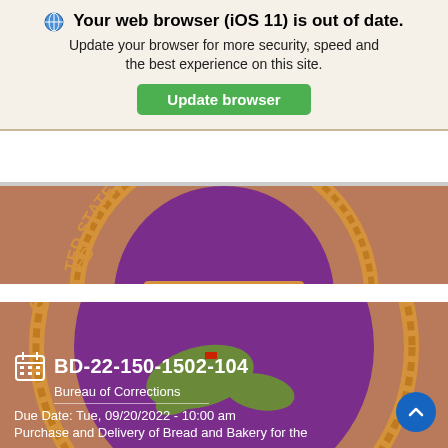Your web browser (iOS 11) is out of date. Update your browser for more security, speed and the best experience on this site. Update browser
[Figure (photo): Partial view of the Government of the United States Virgin Islands official seal - upper portion showing 'UNITED IN PRIDE AND HOPE' and 'TED STATES VIRGIN ISLA' text on orange and brown circular seal]
[Figure (photo): Partial view of the Government of the United States Virgin Islands official seal - lower portion showing 'GOVERNMENT OF THE' text and islands map on purple background with orange border]
BD-22-150-1502-104
Bureau of Corrections
Due Date: Tue, 09/20/2022 - 10:00 am
Purchase and Delivery of Bread and Bakery for the